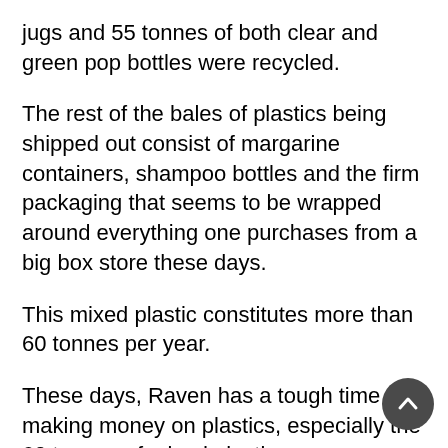jugs and 55 tonnes of both clear and green pop bottles were recycled.
The rest of the bales of plastics being shipped out consist of margarine containers, shampoo bottles and the firm packaging that seems to be wrapped around everything one purchases from a big box store these days.
This mixed plastic constitutes more than 60 tonnes per year.
These days, Raven has a tough time making money on plastics, especially the 60 tonnes of mixed plastics.
From a disposal perspective, burning plastics is about the worst way to deal with it. Regrettably, this is what currently happens in many Yukon communities.